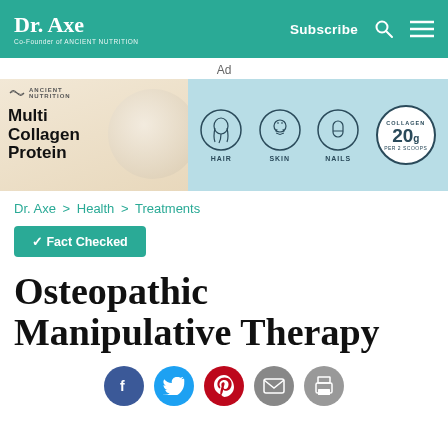Dr. Axe — Co-Founder of Ancient Nutrition | Subscribe
[Figure (infographic): Ad banner for Ancient Nutrition Multi Collagen Protein showing product, icons for Hair, Skin, Nails, and Collagen 20g per 2 scoops badge]
Dr. Axe > Health > Treatments
✓ Fact Checked
Osteopathic Manipulative Therapy
[Figure (infographic): Social share icons: Facebook, Twitter, Pinterest, Email, Print]